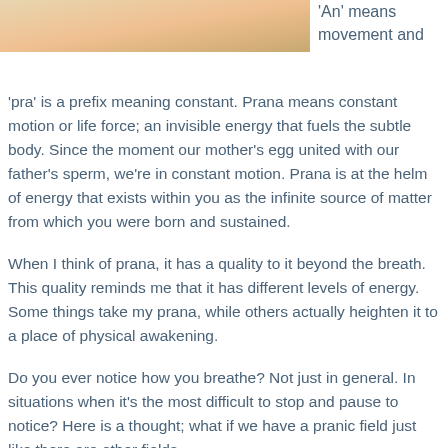[Figure (photo): Partial photo of a person's hand or body, cropped at top left of the page]
'An' means movement and 'pra' is a prefix meaning constant. Prana means constant motion or life force; an invisible energy that fuels the subtle body. Since the moment our mother's egg united with our father's sperm, we're in constant motion. Prana is at the helm of energy that exists within you as the infinite source of matter from which you were born and sustained.
When I think of prana, it has a quality to it beyond the breath. This quality reminds me that it has different levels of energy. Some things take my prana, while others actually heighten it to a place of physical awakening.
Do you ever notice how you breathe? Not just in general. In situations when it's the most difficult to stop and pause to notice? Here is a thought; what if we have a pranic field just like there are other fields